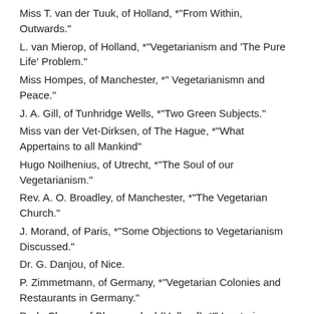Miss T. van der Tuuk, of Holland, *"From Within, Outwards."
L. van Mierop, of Holland, *"Vegetarianism and 'The Pure Life' Problem."
Miss Hompes, of Manchester, *" Vegetarianismn and Peace."
J. A. Gill, of Tunhridge Wells, *"Two Green Subjects."
Miss van der Vet-Dirksen, of The Hague, *"What Appertains to all Mankind"
Hugo Noilhenius, of Utrecht, *"The Soul of our Vegetarianism."
Rev. A. O. Broadley, of Manchester, *"The Vegetarian Church."
J. Morand, of Paris, *"Some Objections to Vegetarianism Discussed."
Dr. G. Danjou, of Nice.
P. Zimmetmann, of Germany, *"Vegetarian Colonies and Restaurants in Germany."
D. de Clercq, of Bloemendaal (Holland), *"Vegetarian Slaughter-houses."
F. Domela Nieuwenhuis, of Hilvershum (Holland), * "The Economic Aspect of Vegetarianism."